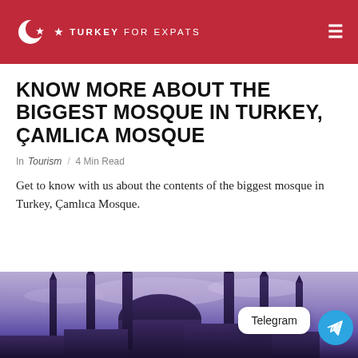TURKEY FOR EXPATS
KNOW MORE ABOUT THE BIGGEST MOSQUE IN TURKEY, ÇAMLICA MOSQUE
In Tourism / 4 Min Read
Get to know with us about the contents of the biggest mosque in Turkey, Çamlıca Mosque.
[Figure (photo): Photo of Çamlıca Mosque minarets silhouetted against a purple-blue sky at dusk, with a Telegram chat button overlay in the bottom right corner]